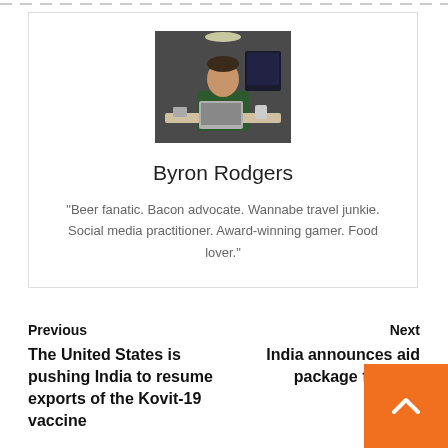[Figure (photo): Author photo of Byron Rodgers, a man sitting at a desk with a laptop in an office setting]
Byron Rodgers
"Beer fanatic. Bacon advocate. Wannabe travel junkie. Social media practitioner. Award-winning gamer. Food lover."
Previous
The United States is pushing India to resume exports of the Kovit-19 vaccine
Next
India announces aid package for tel s